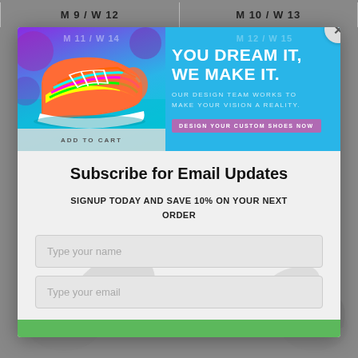M 9 / W 12
M 10 / W 13
[Figure (screenshot): Advertisement banner for custom shoes. Shows colorful sneakers on left. Text reads: YOU DREAM IT, WE MAKE IT. OUR DESIGN TEAM WORKS TO MAKE YOUR VISION A REALITY. Button: DESIGN YOUR CUSTOM SHOES NOW]
Subscribe for Email Updates
SIGNUP TODAY AND SAVE 10% ON YOUR NEXT ORDER
Type your name
Type your email